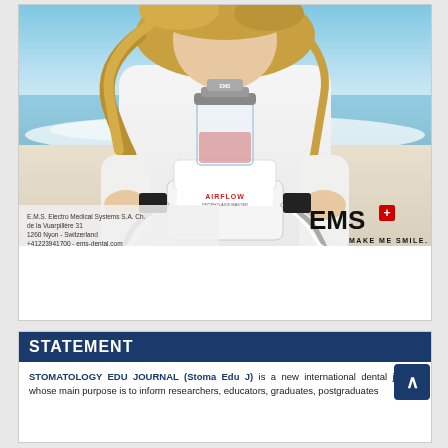[Figure (photo): Advertisement photo showing a woman in white shirt at a beach holding an EMS AIRFLOW Prophylaxis Master dental device. The ad includes EMS contact information and the 'MAKE ME SMILE.' tagline with EMS logo.]
STATEMENT
STOMATOLOGY EDU JOURNAL (Stoma Edu J) is a new international dental journal whose main purpose is to inform researchers, educators, graduates, postgraduates